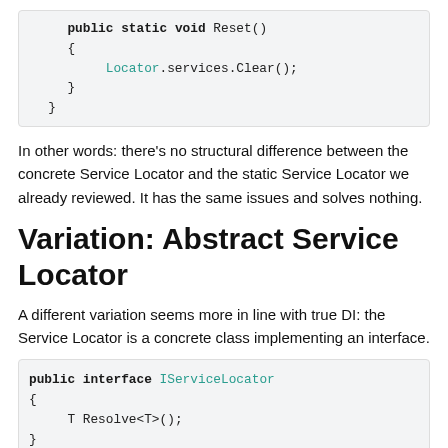[Figure (screenshot): Code block showing public static void Reset() method with Locator.services.Clear() inside]
In other words: there's no structural difference between the concrete Service Locator and the static Service Locator we already reviewed. It has the same issues and solves nothing.
Variation: Abstract Service Locator
A different variation seems more in line with true DI: the Service Locator is a concrete class implementing an interface.
[Figure (screenshot): Code block showing public interface IServiceLocator with T Resolve<T>(); method, and public class Locator : IServiceLocator with private readonly Dictionary<Type, Func<object>>]